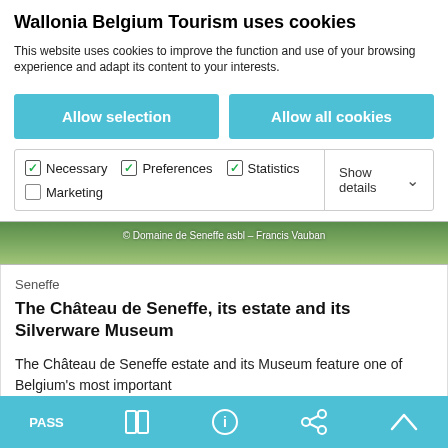Wallonia Belgium Tourism uses cookies
This website uses cookies to improve the function and use of your browsing experience and adapt its content to your interests.
Allow selection
Allow all cookies
Necessary  Preferences  Statistics  Marketing  Show details
[Figure (photo): © Domaine de Seneffe asbl - Francis Vauban — green landscape photo partial view]
Seneffe
The Château de Seneffe, its estate and its Silverware Museum
The Château de Seneffe estate and its Museum feature one of Belgium's most important
PASS